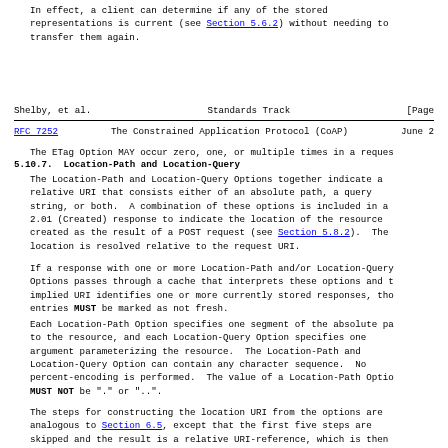In effect, a client can determine if any of the stored representations is current (see Section 5.6.2) without needing to transfer them again.
Shelby, et al.    Standards Track    [Page
RFC 7252    The Constrained Application Protocol (CoAP)    June 2
The ETag Option MAY occur zero, one, or multiple times in a reques
5.10.7.  Location-Path and Location-Query
The Location-Path and Location-Query Options together indicate a relative URI that consists either of an absolute path, a query string, or both.  A combination of these options is included in a 2.01 (Created) response to indicate the location of the resource created as the result of a POST request (see Section 5.8.2).  The location is resolved relative to the request URI.
If a response with one or more Location-Path and/or Location-Query Options passes through a cache that interprets these options and t implied URI identifies one or more currently stored responses, tho entries MUST be marked as not fresh.
Each Location-Path Option specifies one segment of the absolute pa to the resource, and each Location-Query Option specifies one argument parameterizing the resource.  The Location-Path and Location-Query Option can contain any character sequence.  No percent-encoding is performed.  The value of a Location-Path Optio MUST NOT be "." or "..".
The steps for constructing the location URI from the options are analogous to Section 6.5, except that the first five steps are skipped and the result is a relative URI-reference, which is then interpreted relative to the request URI.  Note that the relativ